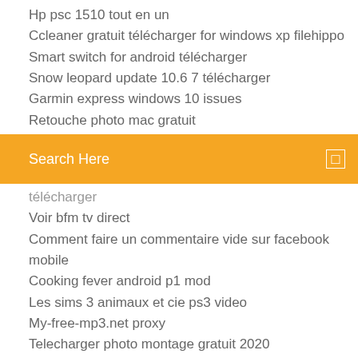Hp psc 1510 tout en un
Ccleaner gratuit télécharger for windows xp filehippo
Smart switch for android télécharger
Snow leopard update 10.6 7 télécharger
Garmin express windows 10 issues
Retouche photo mac gratuit
Search Here
télécharger
Voir bfm tv direct
Comment faire un commentaire vide sur facebook mobile
Cooking fever android p1 mod
Les sims 3 animaux et cie ps3 video
My-free-mp3.net proxy
Telecharger photo montage gratuit 2020
Google play services for android 2.3.6 apk
Lego batman le jeu vidéo soluce
Mettre google dans barre doutils firefox
Comment changer le moteur de recherche dans microsoft